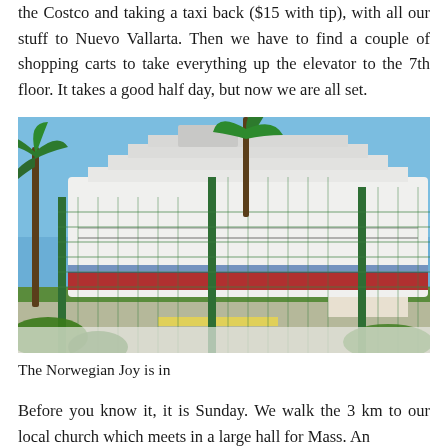the Costco and taking a taxi back ($15 with tip), with all our stuff to Nuevo Vallarta. Then we have to find a couple of shopping carts to take everything up the elevator to the 7th floor. It takes a good half day, but now we are all set.
[Figure (photo): A large cruise ship (Norwegian Joy) docked at port, viewed through a green metal fence with palm trees in the foreground under a blue sky.]
The Norwegian Joy is in
Before you know it, it is Sunday. We walk the 3 km to our local church which meets in a large hall for Mass. An